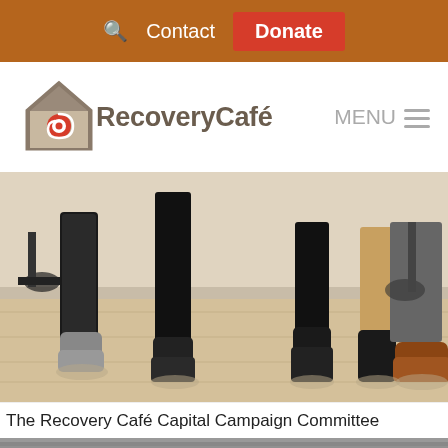🔍 Contact  Donate
[Figure (logo): Recovery Café logo with house icon and red spiral, wordmark reads 'RecoveryCafé']
[Figure (photo): Photo of people's legs and feet standing on a light wood floor, wearing various boots and shoes including grey ankle boots, black boots, black heels, and a brown leather oxford shoe]
The Recovery Café Capital Campaign Committee
[Figure (photo): Partial view of interior space, bottom of image]